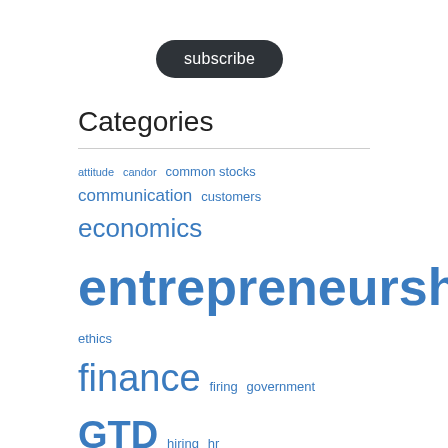subscribe
Categories
attitude candor common stocks communication customers economics entrepreneurship ethics finance firing government GTD hiring hr investing legal management marketing negotiation news stories personal real estate respect sales technology Uncategorized
[Figure (logo): MassLandlords.net logo with ML letters and site name]